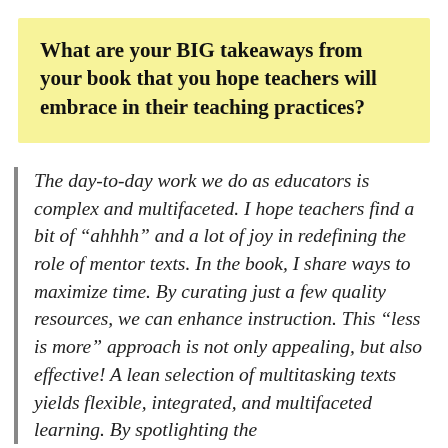What are your BIG takeaways from your book that you hope teachers will embrace in their teaching practices?
The day-to-day work we do as educators is complex and multifaceted. I hope teachers find a bit of “ahhhh” and a lot of joy in redefining the role of mentor texts. In the book, I share ways to maximize time. By curating just a few quality resources, we can enhance instruction. This “less is more” approach is not only appealing, but also effective! A lean selection of multitasking texts yields flexible, integrated, and multifaceted learning. By spotlighting the